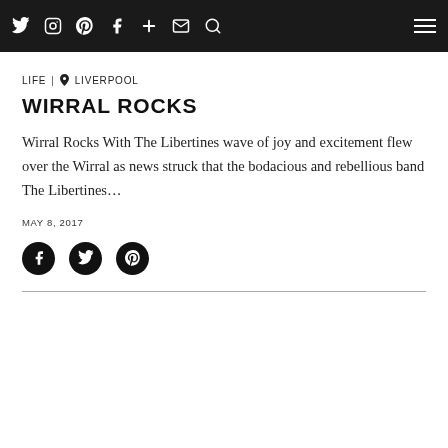Navigation bar with social icons: Twitter, Instagram, Pinterest, Facebook, Plus, Email, Search, and hamburger menu
LIFE | 📍 LIVERPOOL
WIRRAL ROCKS
Wirral Rocks With The Libertines wave of joy and excitement flew over the Wirral as news struck that the bodacious and rebellious band The Libertines…
MAY 8, 2017
[Figure (other): Social share icons: Facebook, Twitter, Pinterest circles]